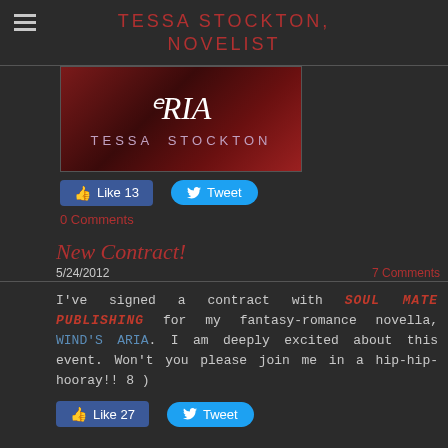TESSA STOCKTON, NOVELIST
[Figure (photo): Book cover image for 'Aria' by Tessa Stockton with red background]
Like 13  Tweet
0 Comments
New Contract!
5/24/2012   7 Comments
I've signed a contract with SOUL MATE PUBLISHING for my fantasy-romance novella, WIND'S ARIA. I am deeply excited about this event. Won't you please join me in a hip-hip-hooray!! 8 )
Like 27  Tweet